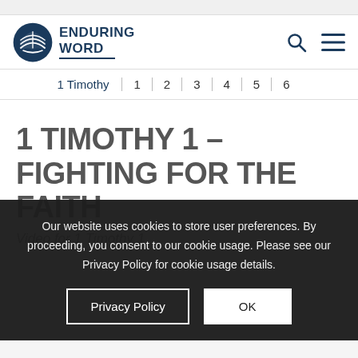[Figure (logo): Enduring Word logo with open book icon and text 'ENDURING WORD']
1 Timothy | 1 | 2 | 3 | 4 | 5 | 6
1 TIMOTHY 1 – FIGHTING FOR THE FAITH
Video for 1 Timothy 1
Our website uses cookies to store user preferences. By proceeding, you consent to our cookie usage. Please see our Privacy Policy for cookie usage details.